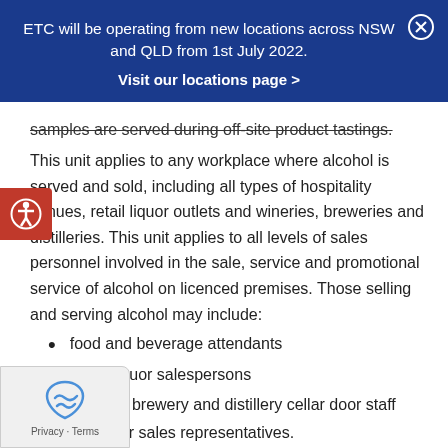ETC will be operating from new locations across NSW and QLD from 1st July 2022.
Visit our locations page >
samples are served during off-site product tastings.
This unit applies to any workplace where alcohol is served and sold, including all types of hospitality venues, retail liquor outlets and wineries, breweries and distilleries. This unit applies to all levels of sales personnel involved in the sale, service and promotional service of alcohol on licenced premises. Those selling and serving alcohol may include:
food and beverage attendants
retail liquor salespersons
winery, brewery and distillery cellar door staff
supplier sales representatives.
[Figure (other): Accessibility icon button (red circle with white person icon)]
[Figure (other): Privacy & Terms reCAPTCHA widget box]